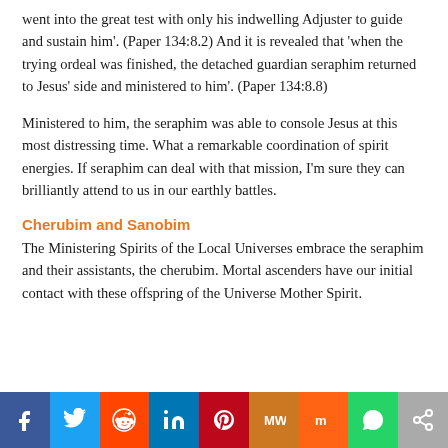went into the great test with only his indwelling Adjuster to guide and sustain him'. (Paper 134:8.2) And it is revealed that 'when the trying ordeal was finished, the detached guardian seraphim returned to Jesus' side and ministered to him'. (Paper 134:8.8)
Ministered to him, the seraphim was able to console Jesus at this most distressing time. What a remarkable coordination of spirit energies. If seraphim can deal with that mission, I'm sure they can brilliantly attend to us in our earthly battles.
Cherubim and Sanobim
The Ministering Spirits of the Local Universes embrace the seraphim and their assistants, the cherubim. Mortal ascenders have our initial contact with these offspring of the Universe Mother Spirit.
[Figure (infographic): Social media share bar with icons for Facebook, Twitter, Reddit, LinkedIn, Pinterest, MeWe, Mix, WhatsApp, and Share]